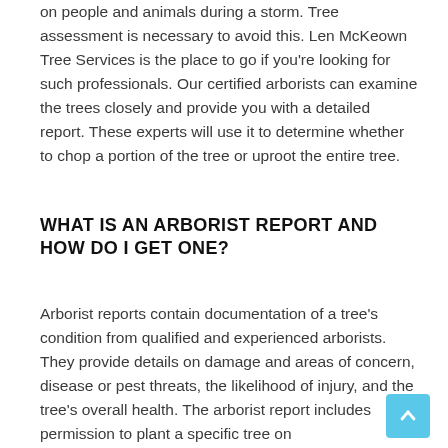on people and animals during a storm. Tree assessment is necessary to avoid this. Len McKeown Tree Services is the place to go if you're looking for such professionals. Our certified arborists can examine the trees closely and provide you with a detailed report. These experts will use it to determine whether to chop a portion of the tree or uproot the entire tree.
WHAT IS AN ARBORIST REPORT AND HOW DO I GET ONE?
Arborist reports contain documentation of a tree's condition from qualified and experienced arborists. They provide details on damage and areas of concern, disease or pest threats, the likelihood of injury, and the tree's overall health. The arborist report includes permission to plant a specific tree on